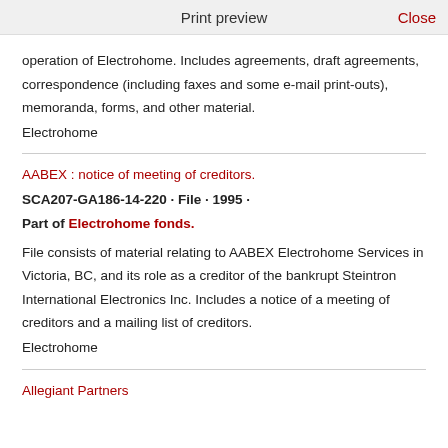Print preview   Close
operation of Electrohome. Includes agreements, draft agreements, correspondence (including faxes and some e-mail print-outs), memoranda, forms, and other material.
Electrohome
AABEX : notice of meeting of creditors.
SCA207-GA186-14-220 · File · 1995 ·
Part of Electrohome fonds.
File consists of material relating to AABEX Electrohome Services in Victoria, BC, and its role as a creditor of the bankrupt Steintron International Electronics Inc. Includes a notice of a meeting of creditors and a mailing list of creditors.
Electrohome
Allegiant Partners